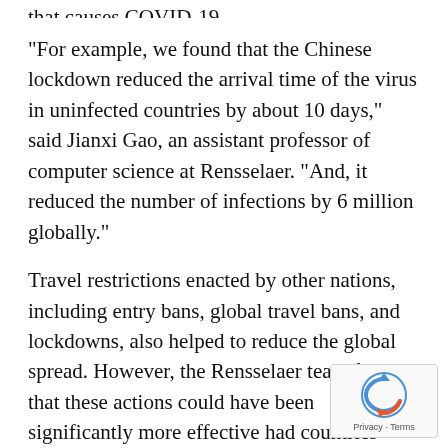that causes COVID-19.
"For example, we found that the Chinese lockdown reduced the arrival time of the virus in uninfected countries by about 10 days," said Jianxi Gao, an assistant professor of computer science at Rensselaer. "And, it reduced the number of infections by 6 million globally."
Travel restrictions enacted by other nations, including entry bans, global travel bans, and lockdowns, also helped to reduce the global spread. However, the Rensselaer team found that these actions could have been significantly more effective had countries worked in concert with one another.
[Figure (logo): reCAPTCHA badge with spinning arrow logo and Privacy - Terms text]